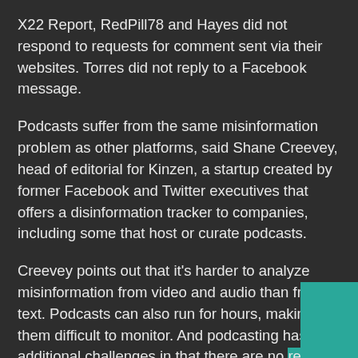X22 Report, RedPill78 and Hayes did not respond to requests for comment sent via their websites. Torres did not reply to a Facebook message.
Podcasts suffer from the same misinformation problem as other platforms, said Shane Creevey, head of editorial for Kinzen, a startup created by former Facebook and Twitter executives that offers a disinformation tracker to companies, including some that host or curate podcasts.
Creevey points out that it's harder to analyze misinformation from video and audio than from text. Podcasts can also run for hours, making them difficult to monitor. And podcasting has additional challenges in that there are no reliable statistics on their audience, unlike a YouTube stream, which shows views, or a tweet or Facebook post, which shows likes and shares.